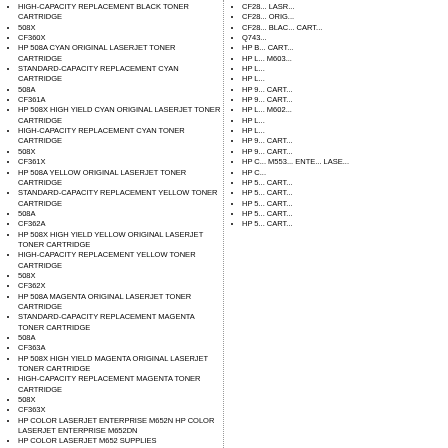HIGH-CAPACITY REPLACEMENT BLACK TONER CARTRIDGE
508X
CF360X
HP 508A CYAN ORIGINAL LASERJET TONER CARTRIDGE
STANDARD-CAPACITY REPLACEMENT CYAN CARTRIDGE
508A
CF361A
HP 508X HIGH YIELD CYAN ORIGINAL LASERJET TONER CARTRIDGE
HIGH-CAPACITY REPLACEMENT CYAN TONER CARTRIDGE
508X
CF361X
HP 508A YELLOW ORIGINAL LASERJET TONER CARTRIDGE
STANDARD-CAPACITY REPLACEMENT YELLOW TONER CARTRIDGE
508A
CF362A
HP 508X HIGH YIELD YELLOW ORIGINAL LASERJET TONER CARTRIDGE
HIGH-CAPACITY REPLACEMENT YELLOW TONER CARTRIDGE
508X
CF362X
HP 508A MAGENTA ORIGINAL LASERJET TONER CARTRIDGE
STANDARD-CAPACITY REPLACEMENT MAGENTA TONER CARTRIDGE
508A
CF363A
HP 508X HIGH YIELD MAGENTA ORIGINAL LASERJET TONER CARTRIDGE
HIGH-CAPACITY REPLACEMENT MAGENTA TONER CARTRIDGE
508X
CF363X
HP COLOR LASERJET ENTERPRISE M652N HP COLOR LASERJET ENTERPRISE M652DN
HP COLOR LASERJET M652 SUPPLIES
HP 655A BLACK ORIGINAL LASERJET TONER CARTRIDGE (~12,500 YIELD) CF450A
HP 656X BLACK HIGH YIELD BLACK ORIGINAL LASERJET TONER CARTRIDGE (~27,000 YIELD) CF460X
CF28... LASR...
CF28... ORIG...
CF28... BLAC... CART...
Q743...
HP B... CART...
HP L... M603...
HP L...
HP L...
HP 9... CART...
HP 9... CART...
HP L... M602...
HP L...
HP L...
HP 9... CART...
HP 9... CART...
HP C... M553... ENTE... LASE...
HP C...
HP 5... CART...
HP 5... CART...
HP 5... CART...
HP 5... CART...
HP 5... CART...